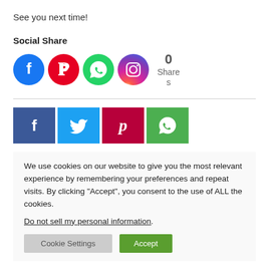See you next time!
Social Share
[Figure (other): Row of social media share icons (Facebook, Pinterest, WhatsApp, Instagram circles) and a share count showing 0 Shares]
[Figure (other): Row of square social share buttons: Facebook (dark blue, f), Twitter (light blue, bird), Pinterest (dark red, p), WhatsApp (green, phone)]
We use cookies on our website to give you the most relevant experience by remembering your preferences and repeat visits. By clicking “Accept”, you consent to the use of ALL the cookies.
Do not sell my personal information.